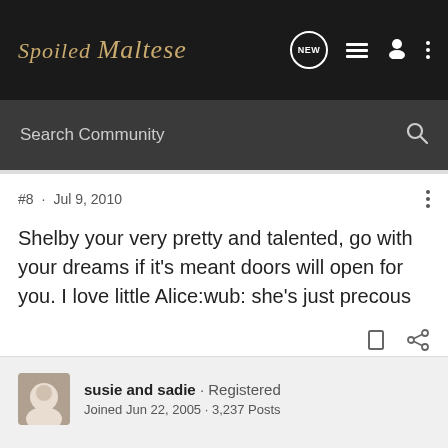Spoiled Maltese
Search Community
#8 · Jul 9, 2010
Shelby your very pretty and talented, go with your dreams if it's meant doors will open for you. I love little Alice:wub: she's just precous
susie and sadie · Registered
Joined Jun 22, 2005 · 3,237 Posts